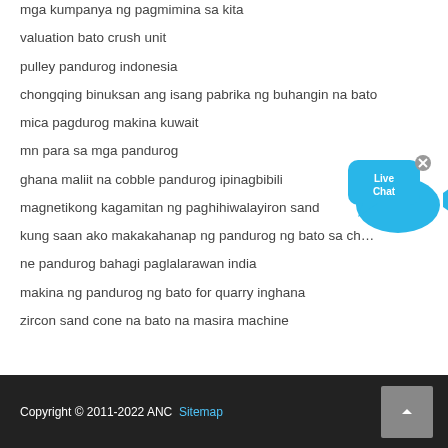mga kumpanya ng pagmimina sa kita
valuation bato crush unit
pulley pandurog indonesia
chongqing binuksan ang isang pabrika ng buhangin na bato
mica pagdurog makina kuwait
mn para sa mga pandurog
ghana maliit na cobble pandurog ipinagbibili
magnetikong kagamitan ng paghihiwalayiron sand
kung saan ako makakahanap ng pandurog ng bato sa ch…
ne pandurog bahagi paglalarawan india
makina ng pandurog ng bato for quarry inghana
zircon sand cone na bato na masira machine
[Figure (other): Live Chat button widget - blue speech bubble with fish shape and 'x' close button, text reads 'Live Chat']
Copyright © 2011-2022 ANC  Sitemap